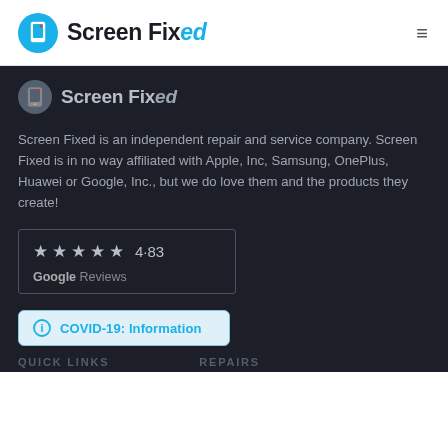Screen Fixed
[Figure (logo): Screen Fixed logo with blue circle icon and brand name in dark/cyan italic style]
Screen Fixed is an independent repair and service company. Screen Fixed is in no way affiliated with Apple, Inc, Samsung, OnePlus, Huawei or Google, Inc., but we do love them and the products they create!
[Figure (infographic): Google Reviews box showing 5 stars and rating 4.83]
[Figure (infographic): COVID-19: Information button/banner in light blue]
QUICK LINKS   REPAIRS